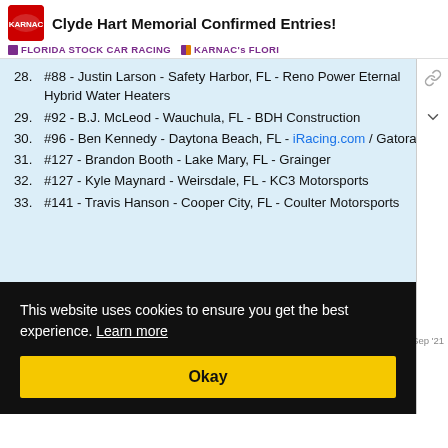Clyde Hart Memorial Confirmed Entries!
FLORIDA STOCK CAR RACING   KARNAC's FLORI
28. #88 - Justin Larson - Safety Harbor, FL - Reno Power Eternal Hybrid Water Heaters
29. #92 - B.J. McLeod - Wauchula, FL - BDH Construction
30. #96 - Ben Kennedy - Daytona Beach, FL - iRacing.com / Gatorade
31. #127 - Brandon Booth - Lake Mary, FL - Grainger
32. #127 - Kyle Maynard - Weirsdale, FL - KC3 Motorsports
33. #141 - Travis Hanson - Cooper City, FL - Coulter Motorsports
This website uses cookies to ensure you get the best experience. Learn more
Okay